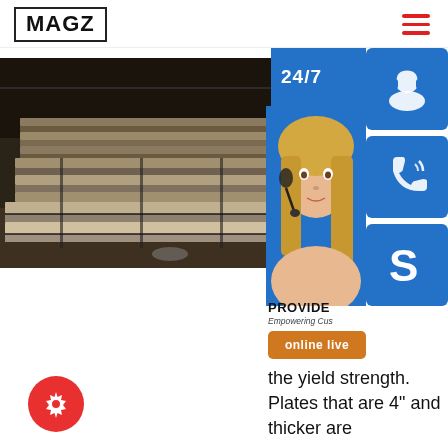MAGZ
[Figure (photo): Warehouse interior with stacks of large metal/steel plates bundled and stored on the floor]
[Figure (infographic): Right-side panel showing 24/7 service banner, customer service representative photo, three blue icon buttons (headset, phone, Skype S logo), online live button, and PROVIDE / Empowering Customers text]
the yield strength. Plates that are 4" and thicker are
[Figure (other): Red circular settings/gear icon button]